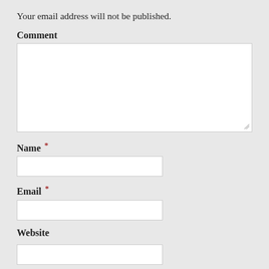Your email address will not be published.
Comment
[Figure (other): Large text area input box for comment]
Name *
[Figure (other): Text input field for Name]
Email *
[Figure (other): Text input field for Email]
Website
[Figure (other): Text input field for Website]
Notify me of follow-up comments by email.
Notify me of new posts by email.